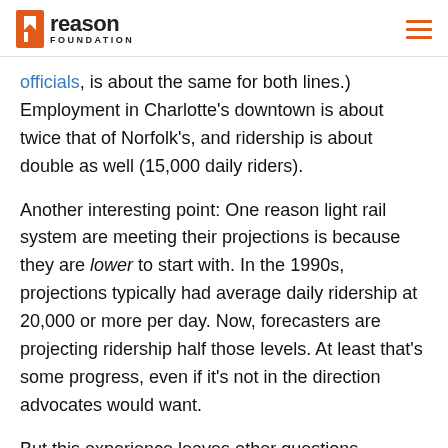Reason Foundation
officials, is about the same for both lines.) Employment in Charlotte's downtown is about twice that of Norfolk's, and ridership is about double as well (15,000 daily riders).
Another interesting point: One reason light rail system are meeting their projections is because they are lower to start with. In the 1990s, projections typically had average daily ridership at 20,000 or more per day. Now, forecasters are projecting ridership half those levels. At least that's some progress, even if it's not in the direction advocates would want.
But this experience leaves other questions...